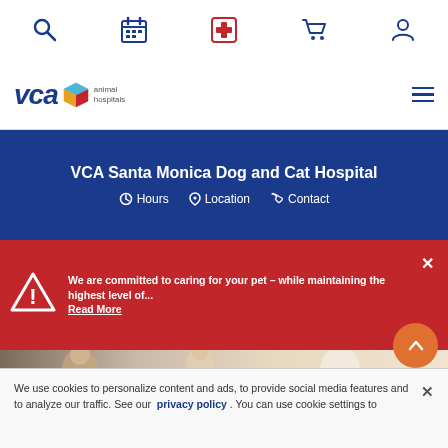[Figure (screenshot): Website top navigation bar with search, calendar, medical cross, cart, and user account icons]
[Figure (logo): VCA Animal Hospitals logo with colorful diamond shape and text]
VCA Santa Monica Dog and Cat Hospital
Hours   Location   Contact
We are committed to caring for your pet – while maintaining the highest level of...
Read More
[Figure (photo): Partial photo of people with a pet animal in a veterinary setting]
We use cookies to personalize content and ads, to provide social media features and to analyze our traffic. See our privacy policy . You can use cookie settings to